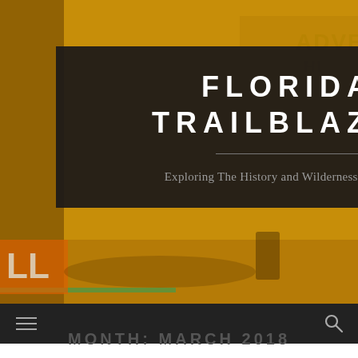[Figure (screenshot): Header image for Florida Trailblazer website. Golden/amber toned background photo showing trail/outdoor scene. Dark semi-transparent overlay box containing the site title and tagline. Navigation bar below with hamburger menu and search icon.]
FLORIDA TRAILBLAZER
Exploring The History and Wilderness of Florida
MONTH: MARCH 2018